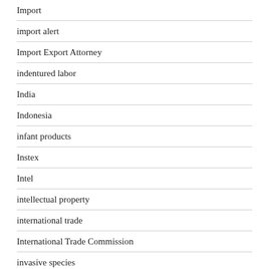Import
import alert
Import Export Attorney
indentured labor
India
Indonesia
infant products
Instex
Intel
intellectual property
international trade
International Trade Commission
invasive species
iPhone
IPPC